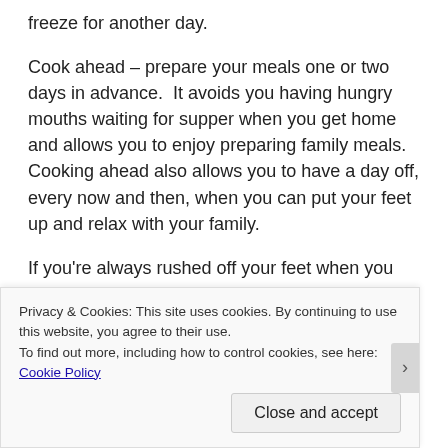freeze for another day.
Cook ahead – prepare your meals one or two days in advance.  It avoids you having hungry mouths waiting for supper when you get home and allows you to enjoy preparing family meals. Cooking ahead also allows you to have a day off, every now and then, when you can put your feet up and relax with your family.
If you're always rushed off your feet when you get
Privacy & Cookies: This site uses cookies. By continuing to use this website, you agree to their use.
To find out more, including how to control cookies, see here: Cookie Policy
Close and accept